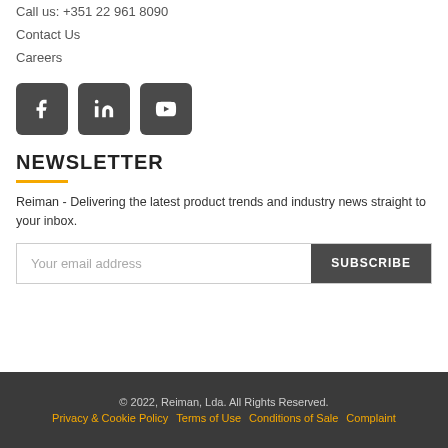Call us: +351 22 961 8090
Contact Us
Careers
[Figure (other): Three social media icon buttons: Facebook, LinkedIn, YouTube — dark square rounded buttons with white icons]
NEWSLETTER
Reiman - Delivering the latest product trends and industry news straight to your inbox.
Your email address
SUBSCRIBE
© 2022, Reiman, Lda. All Rights Reserved. | Privacy & Cookie Policy | Terms of Use | Conditions of Sale | Complaint